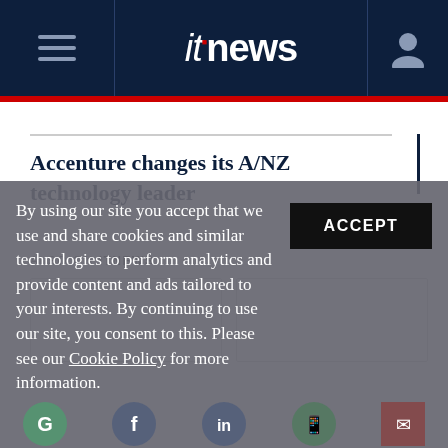itnews
Accenture changes its A/NZ technology leader
ALSO ON ITNEWS
By using our site you accept that we use and share cookies and similar technologies to perform analytics and provide content and ads tailored to your interests. By continuing to use our site, you consent to this. Please see our Cookie Policy for more information.